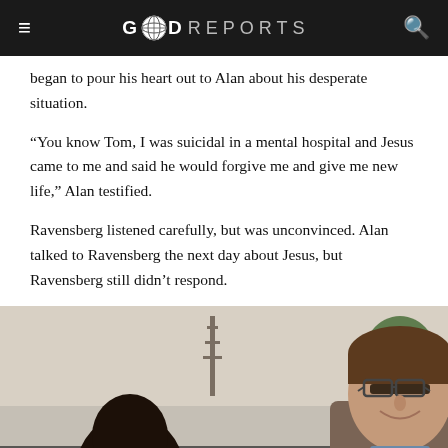GOD REPORTS
began to pour his heart out to Alan about his desperate situation.
“You know Tom, I was suicidal in a mental hospital and Jesus came to me and said he would forgive me and give me new life,” Alan testified.
Ravensberg listened carefully, but was unconvinced. Alan talked to Ravensberg the next day about Jesus, but Ravensberg still didn’t respond.
[Figure (photo): Outdoor photo showing two people near a vehicle, one a Black man and the other a smiling white man with glasses and brown hair, with a communications tower and trees visible in the background.]